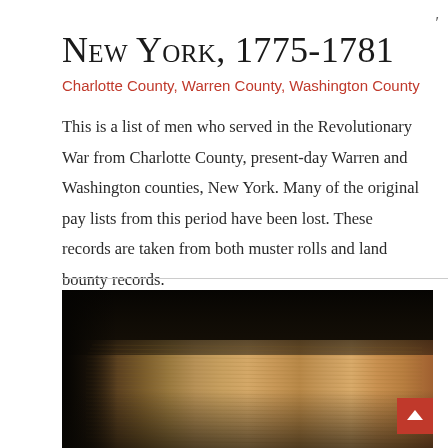New York, 1775-1781
Charlotte County, Warren County, Washington County
This is a list of men who served in the Revolutionary War from Charlotte County, present-day Warren and Washington counties, New York. Many of the original pay lists from this period have been lost. These records are taken from both muster rolls and land bounty records.
[Figure (photo): Close-up photograph of old weathered book pages/ledgers stacked or fanned out, showing aged brown and tan paper edges in dim light.]